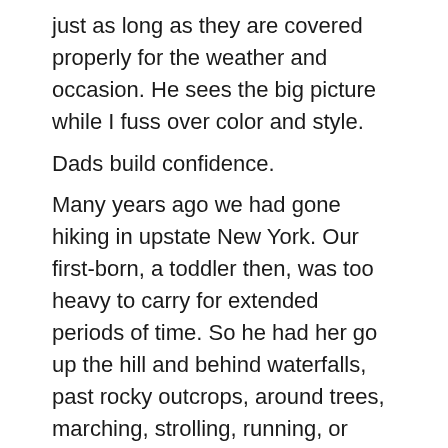just as long as they are covered properly for the weather and occasion. He sees the big picture while I fuss over color and style.
Dads build confidence.
Many years ago we had gone hiking in upstate New York. Our first-born, a toddler then, was too heavy to carry for extended periods of time. So he had her go up the hill and behind waterfalls, past rocky outcrops, around trees, marching, strolling, running, or dragging her feet, but on her own feet. She was dead tired that night, slept like a log. Today, as a young adult, she goes hiking, spelunking, scuba diving, confident in her own physical abilities.
Dads are good talking with the kids.
My husband guides the dinner conversation when